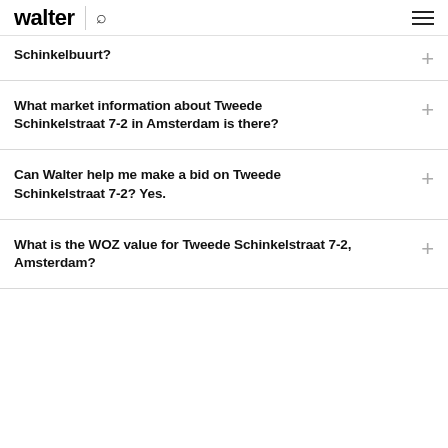walter
Schinkelbuurt?
What market information about Tweede Schinkelstraat 7-2 in Amsterdam is there?
Can Walter help me make a bid on Tweede Schinkelstraat 7-2? Yes.
What is the WOZ value for Tweede Schinkelstraat 7-2, Amsterdam?